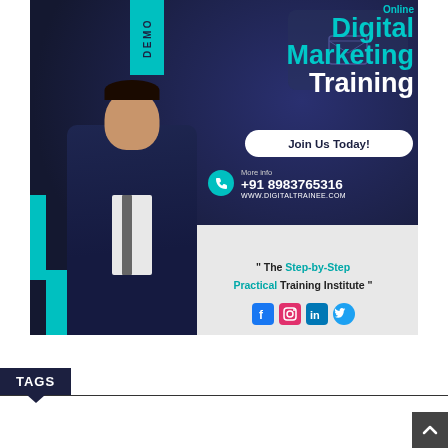[Figure (infographic): Online Digital Marketing Training promotional banner with dark navy background, teal accents, person in suit, contact info, social media icons]
Digital Marketing Training
Join Us Today!
More info
+91 8983765316
WWW.DIGITALTRAINEE.COM
" The Step-by-Step Practical Training Institute "
TAGS